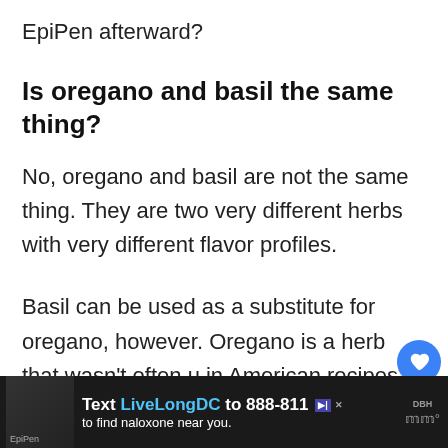EpiPen afterward?
Is oregano and basil the same thing?
No, oregano and basil are not the same thing. They are two very different herbs with very different flavor profiles.
Basil can be used as a substitute for oregano, however. Oregano is a herb that wasn't often used in American recipes much before World War II, but has firmly become a staple on many dishes such as pizza. In contrast basil is a herb that can be used...
[Figure (screenshot): Ad banner at the bottom: Text LiveLongDC to 888-811 to find naloxone near you.]